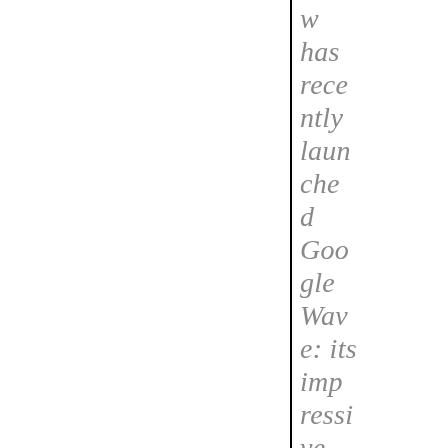w has recently launched Google Wave: its impressive collabor